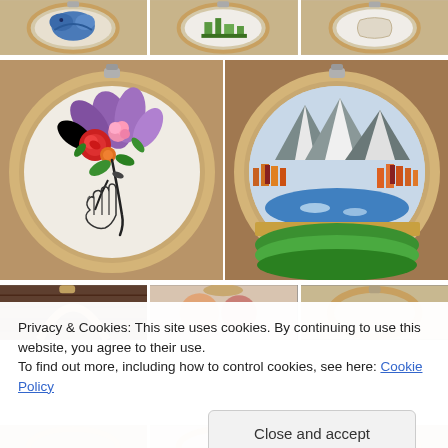[Figure (photo): Top row of three embroidery hoops on wooden surface - left shows blue bird/butterfly embroidery, middle shows green building/cityscape, right shows partial light-colored embroidery]
[Figure (photo): Two large embroidery hoops side by side on wooden surface - left hoop shows abstract floral face with colorful flowers (rose, daisy, purple petals) and black line drawing of a hand touching a face; right hoop shows mountain landscape with snowy peaks, autumn orange trees, blue lake, and green meadow]
[Figure (photo): Bottom row of three partially visible embroidery hoops - dark brown textured on left, colorful owl/floral in middle, partial hoop on right]
Privacy & Cookies: This site uses cookies. By continuing to use this website, you agree to their use.
To find out more, including how to control cookies, see here: Cookie Policy
Close and accept